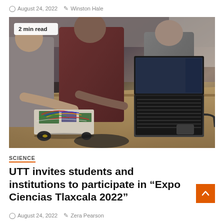August 24, 2022   Winston Hale
[Figure (photo): Students working on a small wheeled robot with circuit boards, wires, and breadboards on a desk, with a laptop open nearby. A '2 min read' badge overlay is visible in the top-left corner.]
SCIENCE
UTT invites students and institutions to participate in “Expo Ciencias Tlaxcala 2022”
August 24, 2022   Zera Pearson